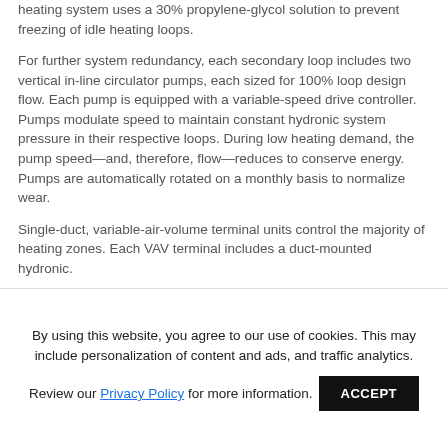heating system uses a 30% propylene-glycol solution to prevent freezing of idle heating loops.
For further system redundancy, each secondary loop includes two vertical in-line circulator pumps, each sized for 100% loop design flow. Each pump is equipped with a variable-speed drive controller. Pumps modulate speed to maintain constant hydronic system pressure in their respective loops. During low heating demand, the pump speed—and, therefore, flow—reduces to conserve energy. Pumps are automatically rotated on a monthly basis to normalize wear.
Single-duct, variable-air-volume terminal units control the majority of heating zones. Each VAV terminal includes a duct-mounted hydronic.
By using this website, you agree to our use of cookies. This may include personalization of content and ads, and traffic analytics.
Review our Privacy Policy for more information.